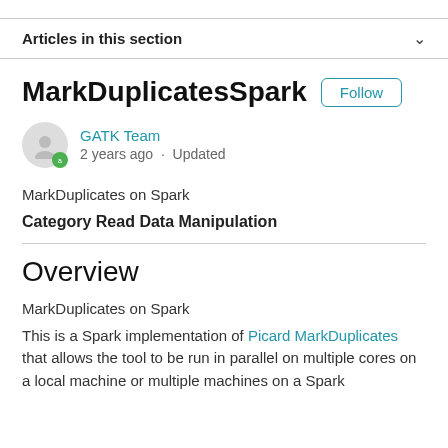Articles in this section
MarkDuplicatesSpark
GATK Team
2 years ago · Updated
MarkDuplicates on Spark
Category Read Data Manipulation
Overview
MarkDuplicates on Spark
This is a Spark implementation of Picard MarkDuplicates that allows the tool to be run in parallel on multiple cores on a local machine or multiple machines on a Spark